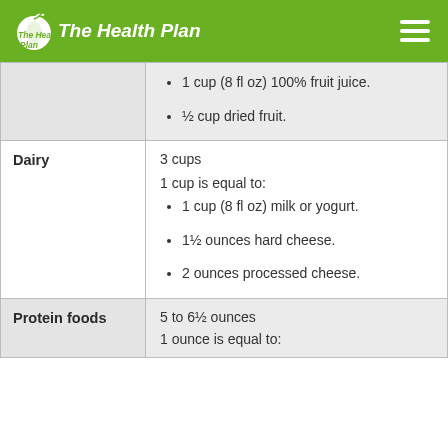The Health Plan
| Food group | Amount / Equivalents |
| --- | --- |
|  | 1 cup (8 fl oz) 100% fruit juice.
½ cup dried fruit. |
| Dairy | 3 cups
1 cup is equal to:
1 cup (8 fl oz) milk or yogurt.
1½ ounces hard cheese.
2 ounces processed cheese. |
| Protein foods | 5 to 6½ ounces
1 ounce is equal to: |